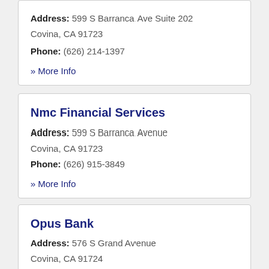Address: 599 S Barranca Ave Suite 202 Covina, CA 91723
Phone: (626) 214-1397
» More Info
Nmc Financial Services
Address: 599 S Barranca Avenue Covina, CA 91723
Phone: (626) 915-3849
» More Info
Opus Bank
Address: 576 S Grand Avenue Covina, CA 91724